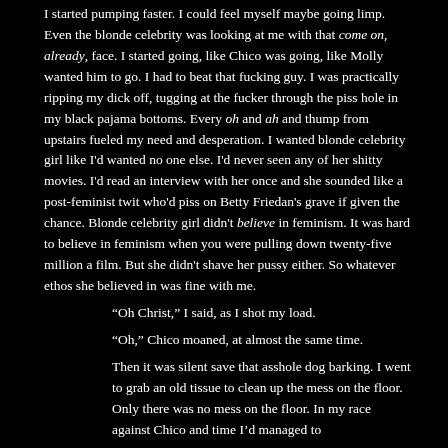I started pumping faster. I could feel myself maybe going limp. Even the blonde celebrity was looking at me with that come on, already, face. I started going, like Chico was going, like Molly wanted him to go. I had to beat that fucking guy. I was practically ripping my dick off, tugging at the fucker through the piss hole in my black pajama bottoms. Every oh and ah and thump from upstairs fueled my need and desperation. I wanted blonde celebrity girl like I'd wanted no one else. I'd never seen any of her shitty movies. I'd read an interview with her once and she sounded like a post-feminist twit who'd piss on Betty Friedan's grave if given the chance. Blonde celebrity girl didn't believe in feminism. It was hard to believe in feminism when you were pulling down twenty-five million a film. But she didn't shave her pussy either. So whatever ethos she believed in was fine with me.
“Oh Christ,” I said, as I shot my load.
“Oh,” Chico moaned, at almost the same time.
Then it was silent save that asshole dog barking. I went to grab an old tissue to clean up the mess on the floor. Only there was no mess on the floor. In my race against Chico and time I'd managed to